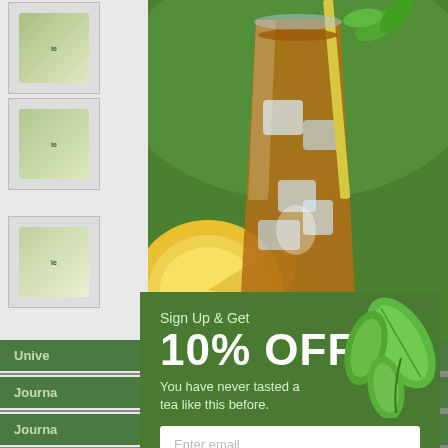[Figure (screenshot): Background webpage content with product thumbnail images and partial text visible on left side, and iced tea photo on the right portion.]
[Figure (photo): Iced tea in a glass with ice cubes, lemon slices, a straw, and mint leaves, photographed from the front.]
[Figure (infographic): Sign up popup modal with green background, tea leaf decoration, showing 10% off promotion text and email input field.]
Sign Up & Get
10% OFF
You have never tasted a tea like this before.
Enter email